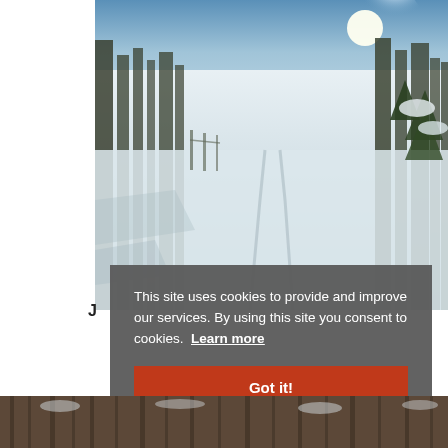[Figure (photo): Outdoor winter scene: a groomed cross-country ski trail cutting through a snow-covered forest with trees on both sides and bright sunlight in the background.]
This site uses cookies to provide and improve our services. By using this site you consent to cookies.  Learn more
Got it!
[Figure (photo): Bottom strip showing a winter forest scene with bare and snow-covered trees.]